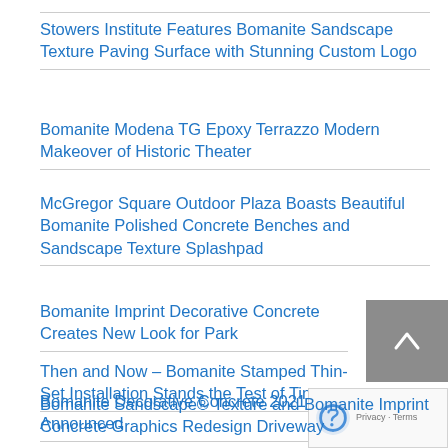Stowers Institute Features Bomanite Sandscape Texture Paving Surface with Stunning Custom Logo
Bomanite Modena TG Epoxy Terrazzo Modern Makeover of Historic Theater
McGregor Square Outdoor Plaza Boasts Beautiful Bomanite Polished Concrete Benches and Sandscape Texture Splashpad
Bomanite Imprint Decorative Concrete Creates New Look for Park
Then and Now – Bomanite Stamped Thin-Set Installation Stands the Test of Time
Bomanite Decorative Concrete 2021 Annual Awards Announced
Bomanite Sandscape® Texture and Bomanite Imprint Concrete Graphics Redesign Driveway